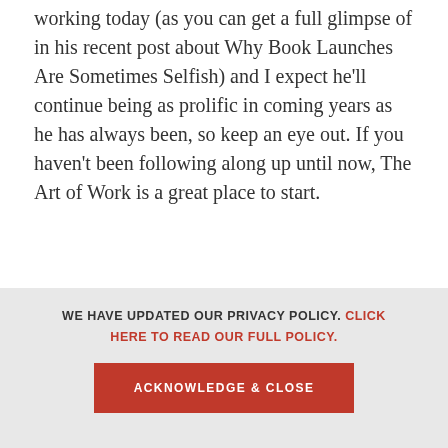working today (as you can get a full glimpse of in his recent post about Why Book Launches Are Sometimes Selfish) and I expect he'll continue being as prolific in coming years as he has always been, so keep an eye out. If you haven't been following along up until now, The Art of Work is a great place to start.
[Figure (infographic): Four circular social media icons in red: Twitter, Facebook, LinkedIn, Instagram]
WE HAVE UPDATED OUR PRIVACY POLICY. CLICK HERE TO READ OUR FULL POLICY.
ACKNOWLEDGE & CLOSE